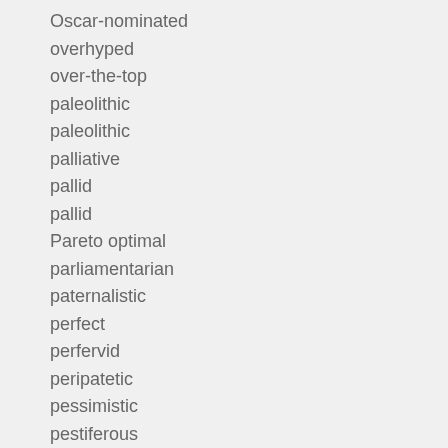Oscar-nominated
overhyped
over-the-top
paleolithic
paleolithic
palliative
pallid
pallid
Pareto optimal
parliamentarian
paternalistic
perfect
perfervid
peripatetic
pessimistic
pestiferous
pestiferous
pettifogging
petty